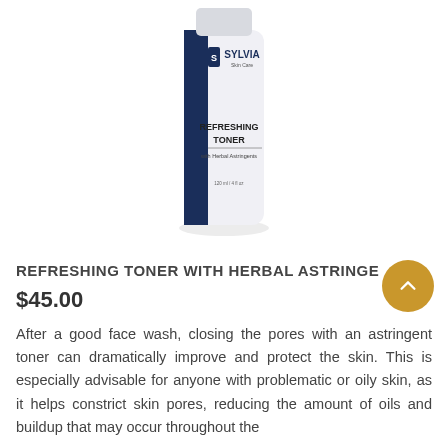[Figure (photo): Sylvia Skin Care Refreshing Toner product bottle with dark blue stripe and white label reading REFRESHING TONER with Herbal Astringents]
REFRESHING TONER WITH HERBAL ASTRINGENTS
$45.00
After a good face wash, closing the pores with an astringent toner can dramatically improve and protect the skin. This is especially advisable for anyone with problematic or oily skin, as it helps constrict skin pores, reducing the amount of oils and buildup that may occur throughout the day.